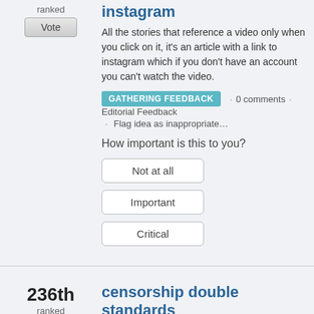ranked
Vote
instagram
All the stories that reference a video only when you click on it, it's an article with a link to instagram which if you don't have an account you can't watch the video.
GATHERING FEEDBACK · 0 comments · Editorial Feedback · Flag idea as inappropriate…
How important is this to you?
Not at all
Important
Critical
236th ranked
Vote
censorship double standards
YAHOO censors double standard. Here is my comment that got censored. read it. then you decide